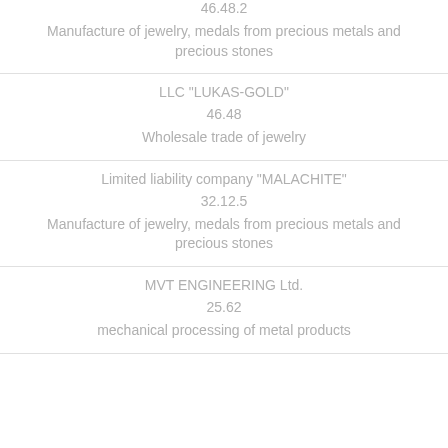46.48.2
Manufacture of jewelry, medals from precious metals and precious stones
LLC "LUKAS-GOLD"
46.48
Wholesale trade of jewelry
Limited liability company "MALACHITE"
32.12.5
Manufacture of jewelry, medals from precious metals and precious stones
MVT ENGINEERING Ltd.
25.62
mechanical processing of metal products